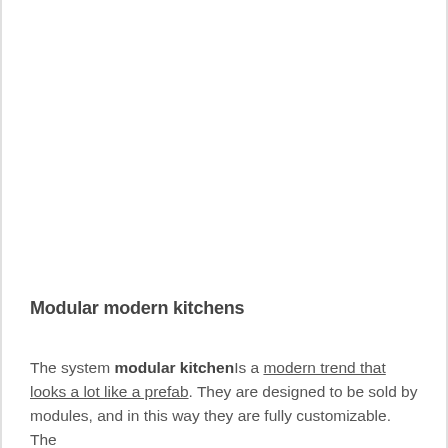Modular modern kitchens
The system modular kitchen Is a modern trend that looks a lot like a prefab. They are designed to be sold by modules, and in this way they are fully customizable. The